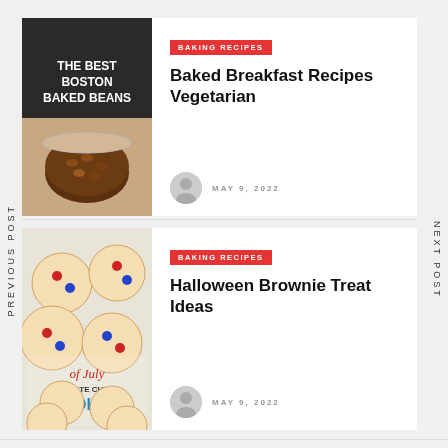[Figure (photo): Food blog thumbnail: The Best Boston Baked Beans - dark beans in a bowl with text overlay on dark background]
BAKING RECIPES
Baked Breakfast Recipes Vegetarian
MAY 9, 2022
PREVIOUS POST
NEXT POST
[Figure (photo): Food blog thumbnail: 4th of July Chocolate Chip Cookies with red, white, and blue M&Ms]
BAKING RECIPES
Halloween Brownie Treat Ideas
MAY 9, 2022